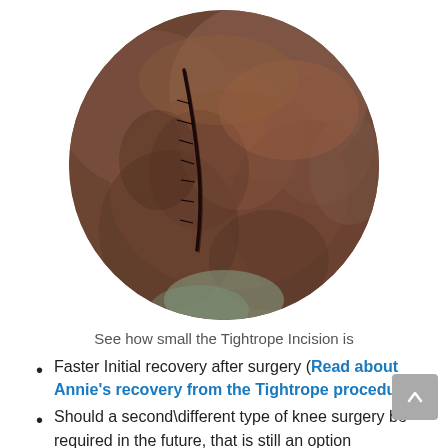[Figure (photo): Circular cropped close-up photo of a knee or body part showing a small surgical Tightrope incision scar on dark skin.]
See how small the Tightrope Incision is
Faster Initial recovery after surgery (Read about Annie's recovery from the Tightrope procedure)
Should a second\different type of knee surgery be required in the future, that is still an option